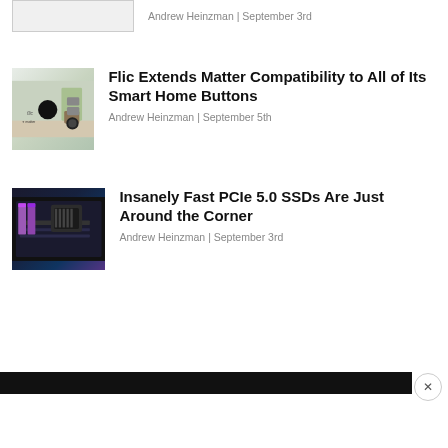[Figure (screenshot): Partial top article thumbnail (cropped at top)]
Andrew Heinzman | September 3rd
[Figure (photo): Flic smart home buttons with matter logo on a shelf]
Flic Extends Matter Compatibility to All of Its Smart Home Buttons
Andrew Heinzman | September 5th
[Figure (photo): Close-up of a dark PCIe motherboard with CPU socket]
Insanely Fast PCIe 5.0 SSDs Are Just Around the Corner
Andrew Heinzman | September 3rd